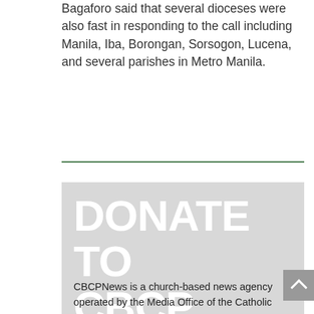Bagaforo said that several dioceses were also fast in responding to the call including Manila, Iba, Borongan, Sorsogon, Lucena, and several parishes in Metro Manila.
DONATE TO CBCP NEWS
CBCPNews is a church-based news agency operated by the Media Office of the Catholic Bishops' Conference of the Philippines. This apostolate aims at helping the work of the new evangelization through the news media. This is non-commercial and non-profit. That being the case, it totally depends on generosity of its readers and supporters